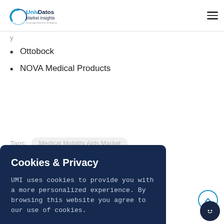UnivDatos Market Insights
Ottobock
NOVA Medical Products
Tags:   Medical Mobility Aids Market
Cookies & Privacy
UMI uses cookies to provide you with a more personalized experience. By browsing this website you agree to our use of cookies.
Accept   Decline